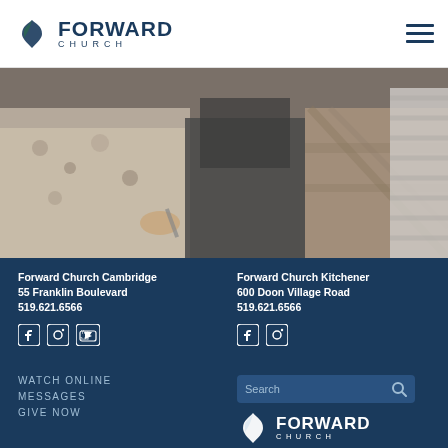[Figure (logo): Forward Church logo with leaf icon, dark blue text FORWARD and CHURCH below]
[Figure (photo): Photo of people gathered together, close-up of torsos in casual clothing]
Forward Church Cambridge
55 Franklin Boulevard
519.621.6566
Forward Church Kitchener
600 Doon Village Road
519.621.6566
[Figure (illustration): Social media icons: Facebook, Instagram, YouTube]
[Figure (illustration): Social media icons: Facebook, Instagram]
WATCH ONLINE
MESSAGES
GIVE NOW
[Figure (illustration): Search bar with search icon]
[Figure (logo): Forward Church white logo with leaf icon]